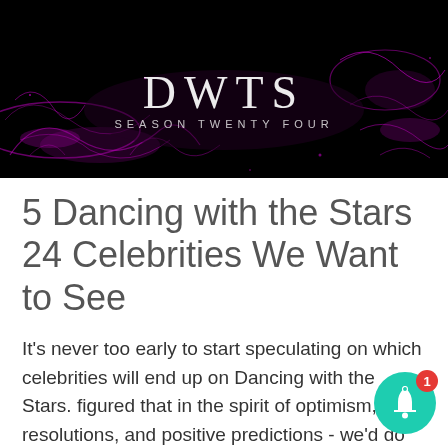[Figure (photo): Dark banner image with purple/magenta glowing smoke or particle effects on a black background. White text reads 'DWTS' in large letters with 'SEASON TWENTY FOUR' in smaller letters beneath it.]
5 Dancing with the Stars 24 Celebrities We Want to See
It's never too early to start speculating on which celebrities will end up on Dancing with the Stars. figured that in the spirit of optimism, resolutions, and positive predictions - we'd do the same with the DWTS